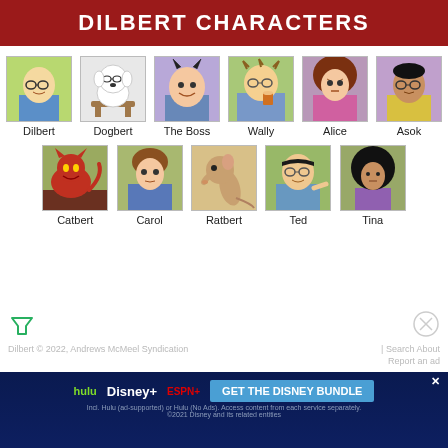DILBERT CHARACTERS
[Figure (illustration): Grid of Dilbert cartoon character portraits: Row 1: Dilbert, Dogbert, The Boss, Wally, Alice, Asok. Row 2: Catbert, Carol, Ratbert, Ted, Tina.]
Dilbert © 2022, Andrews McMeel Syndication | Search About
Report an ad
[Figure (infographic): Disney Bundle advertisement banner: hulu Disney+ ESPN+ GET THE DISNEY BUNDLE. Incl. Hulu (ad-supported) or Hulu (No Ads). Access content from each service separately. ©2021 Disney and its related entities]